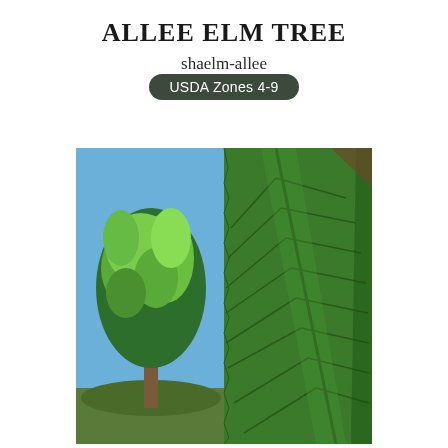ALLEE ELM TREE
shaelm-allee
USDA Zones 4-9
[Figure (photo): Composite photo showing an Allee Elm tree with a full green canopy against a blue sky on the left, and a close-up of a large serrated green elm leaf with prominent veining on the right.]